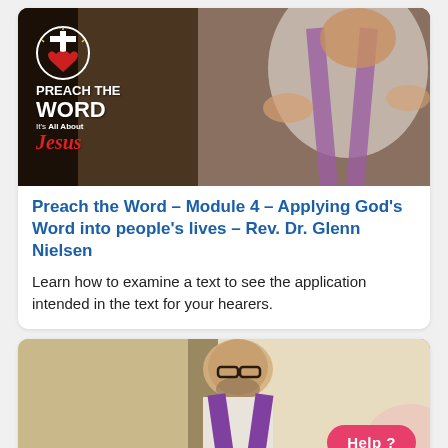[Figure (photo): Photo of Rev. Dr. Glenn Nielsen in white and purple vestments gesturing with hands while preaching, with a 'Preach the Word – It's All About Jesus' logo overlay in the top left]
Preach the Word – Module 4 – Applying God's Word into people's lives – Rev. Dr. Glenn Nielsen
Learn how to examine a text to see the application intended in the text for your hearers.
[Figure (photo): Photo of a minister with glasses and beard wearing purple stole, looking down, with a Help? button overlay]